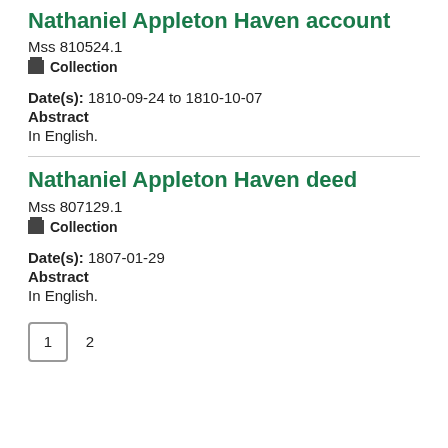Nathaniel Appleton Haven account
Mss 810524.1
Collection
Date(s): 1810-09-24 to 1810-10-07
Abstract
In English.
Nathaniel Appleton Haven deed
Mss 807129.1
Collection
Date(s): 1807-01-29
Abstract
In English.
1  2